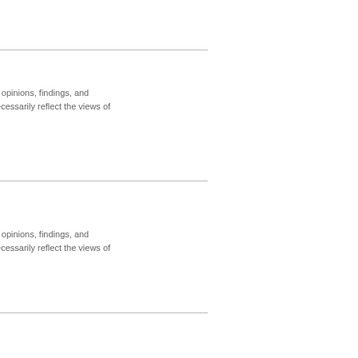e Fund. Any opinions, findings, and nd do not necessarily reflect the views of
2009
e Fund. Any opinions, findings, and nd do not necessarily reflect the views of